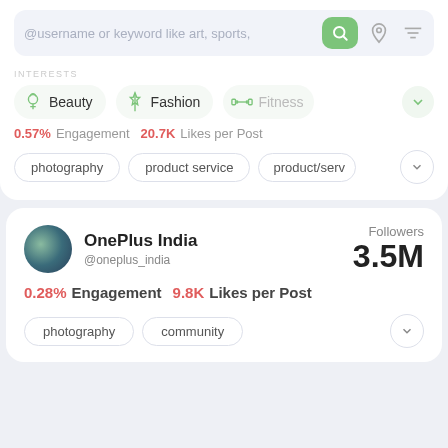@username or keyword like art, sports,
Beauty   Fashion   Fitness
0.57% Engagement   20.7K Likes per Post
photography   product service   product/serv
OnePlus India
@oneplus_india
Followers 3.5M
0.28% Engagement   9.8K Likes per Post
photography   community